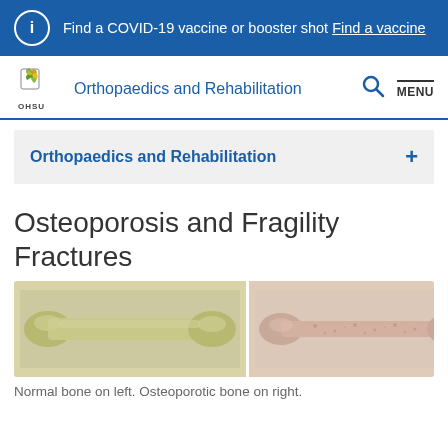Find a COVID-19 vaccine or booster shot Find a vaccine
[Figure (logo): OHSU logo with stylized wheat/flame icon and OHSU text below]
Orthopaedics and Rehabilitation
Orthopaedics and Rehabilitation +
Osteoporosis and Fragility Fractures
[Figure (photo): Two bone specimens side by side: normal bone on the left (yellowish-white, dense), osteoporotic bone on the right (pinkish-beige, porous and thinner)]
Normal bone on left. Osteoporotic bone on right.